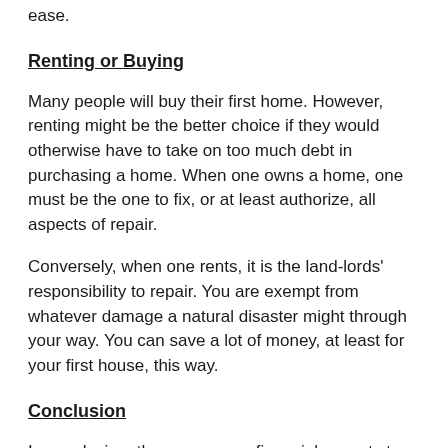ease.
Renting or Buying
Many people will buy their first home. However, renting might be the better choice if they would otherwise have to take on too much debt in purchasing a home. When one owns a home, one must be the one to fix, or at least authorize, all aspects of repair.
Conversely, when one rents, it is the land-lords' responsibility to repair. You are exempt from whatever damage a natural disaster might through your way. You can save a lot of money, at least for your first house, this way.
Conclusion
In conclusion, there are many financial aspects to consider when entering a relationship. Some of them...